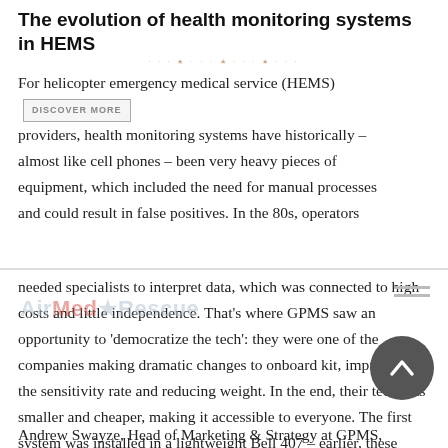The evolution of health monitoring systems in HEMS
For helicopter emergency medical service (HEMS) providers, health monitoring systems have historically – almost like cell phones – been very heavy pieces of equipment, which included the need for manual processes and could result in false positives. In the 80s, operators needed specialists to interpret data, which was connected to high costs and little independence. That's where GPMS saw an opportunity to 'democratize the tech': they were one of the companies making dramatic changes to onboard kit, improving the sensitivity rate and reducing weight. In the end, their tech was smaller and cheaper, making it accessible to everyone. The first system was installed in a lightweight Bell 407 – earlier, these systems could only be used in heavy offshore helicopters.
Andrew Swayze, Head of Marketing & Strategy at GPMS,